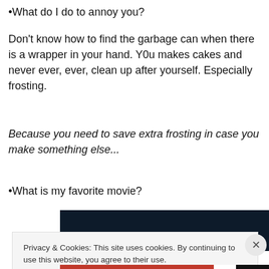•What do I do to annoy you?
Don't know how to find the garbage can when there is a wrapper in your hand. Y0u makes cakes and never ever, ever, clean up after yourself. Especially frosting.
Because you need to save extra frosting in case you make something else...
•What is my favorite movie?
[Figure (screenshot): Dark/black rectangular image block, likely a video thumbnail]
Privacy & Cookies: This site uses cookies. By continuing to use this website, you agree to their use.
To find out more, including how to control cookies, see here: Cookie Policy
Close and accept